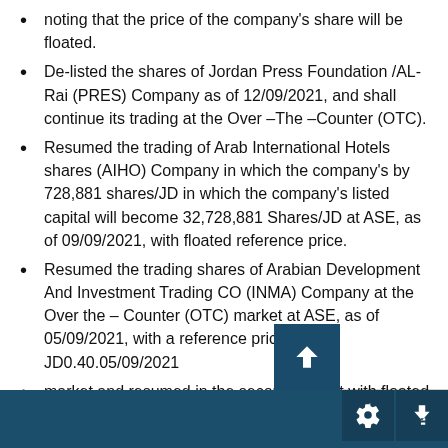noting that the price of the company's share will be floated.
De-listed the shares of Jordan Press Foundation /AL-Rai (PRES) Company as of 12/09/2021, and shall continue its trading at the Over –The –Counter (OTC).
Resumed the trading of Arab International Hotels shares (AIHO) Company in which the company's by 728,881 shares/JD in which the company's listed capital will become 32,728,881 Shares/JD at ASE, as of 09/09/2021, with floated reference price.
Resumed the trading shares of Arabian Development And Investment Trading CO (INMA) Company at the Over the – Counter (OTC) market at ASE, as of 05/09/2021, with a reference price of JD0.40.05/09/2021
market and resumed in the second market with floated reference price.at ASE, as of 02/09/2...